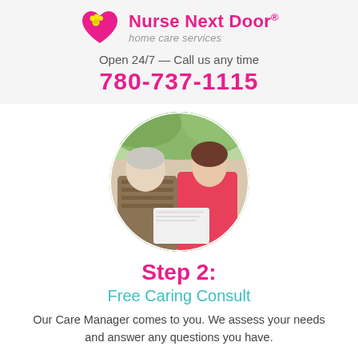[Figure (logo): Nurse Next Door home care services logo with pink heart and yellow flower icon]
Open 24/7 — Call us any time
780-737-1115
[Figure (photo): Circular photo of an elderly man and a younger woman (caregiver) sitting together and looking at a document, outdoors]
Step 2:
Free Caring Consult
Our Care Manager comes to you. We assess your needs and answer any questions you have.
Our care manager will recommend a care plan for you